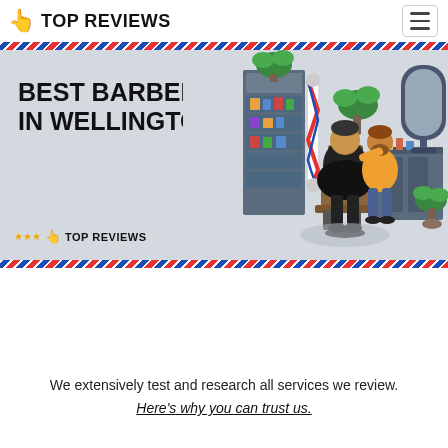TOP REVIEWS
[Figure (illustration): Hero banner showing barber shop scene with text BEST BARBERS IN WELLINGTON and Top Reviews logo. Illustration shows a barber cutting a client's hair in an isometric barbershop setting with shelves, plants, and mirror.]
We extensively test and research all services we review.
Here's why you can trust us.